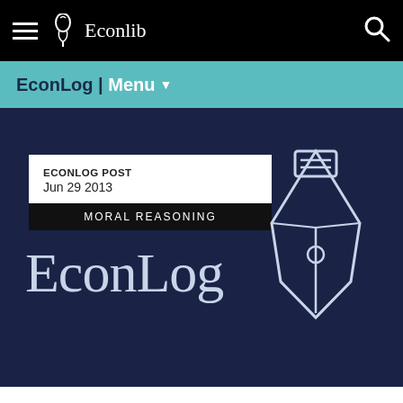Econlib
EconLog | Menu
ECONLOG POST
Jun 29 2013
MORAL REASONING
EconLog
[Figure (logo): Fountain pen nib icon outline in light blue/white on dark navy background]